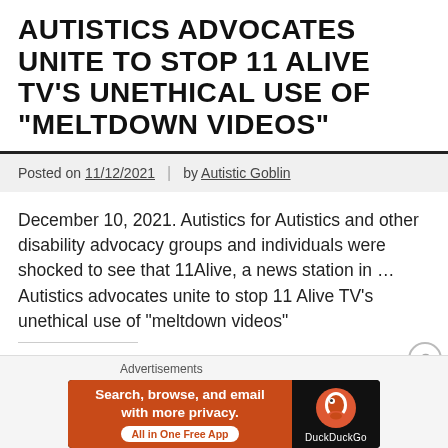AUTISTICS ADVOCATES UNITE TO STOP 11 ALIVE TV'S UNETHICAL USE OF “MELTDOWN VIDEOS”
Posted on 11/12/2021  |  by Autistic Goblin
December 10, 2021. Autistics for Autistics and other disability advocacy groups and individuals were shocked to see that 11Alive, a news station in … Autistics advocates unite to stop 11 Alive TV’s unethical use of “meltdown videos”
Share this:
[Figure (infographic): DuckDuckGo advertisement banner with orange background on left reading 'Search, browse, and email with more privacy. All in One Free App' and DuckDuckGo logo duck on dark right panel]